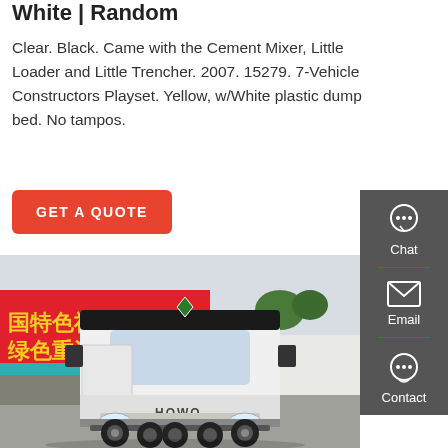White | Random
Clear. Black. Came with the Cement Mixer, Little Loader and Little Trencher. 2007. 15279. 7-Vehicle Constructors Playset. Yellow, w/White plastic dump bed. No tampos.
[Figure (other): Red 'GET A QUOTE' button]
[Figure (photo): Photo of a white HOWO semi-truck cab parked in front of a red banner with Chinese characters and a brick wall.]
[Figure (infographic): Dark gray sidebar with Chat, Email, and Contact icons and labels]